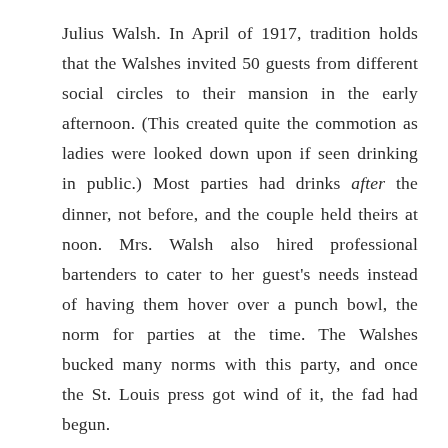Julius Walsh. In April of 1917, tradition holds that the Walshes invited 50 guests from different social circles to their mansion in the early afternoon. (This created quite the commotion as ladies were looked down upon if seen drinking in public.) Most parties had drinks after the dinner, not before, and the couple held theirs at noon. Mrs. Walsh also hired professional bartenders to cater to her guest's needs instead of having them hover over a punch bowl, the norm for parties at the time. The Walshes bucked many norms with this party, and once the St. Louis press got wind of it, the fad had begun.